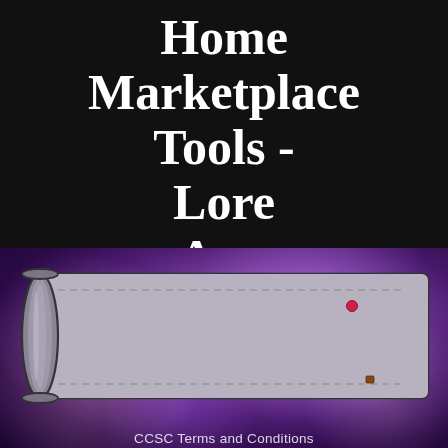Home
Marketplace
Tools -
Lore
App
[Figure (illustration): A cartoon-style horizontal scroll/banner illustration on a purple galaxy background. The scroll is gray/silver colored with rolled ends on the left side and dashed border lines. A small red dot appears near the top-right and a small brown/orange dot near the bottom-right corner.]
CCSC Terms and Conditions